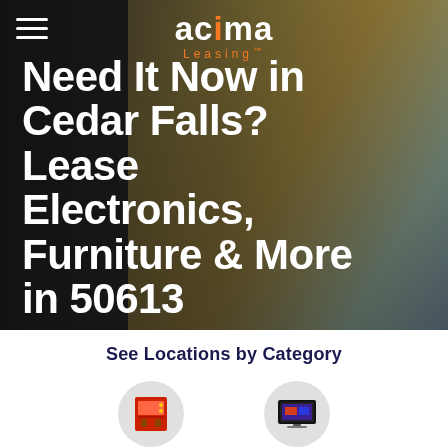[Figure (photo): Acima Leasing website screenshot showing a smiling woman on a couch in a hero banner with dark overlay]
Need It Now in Cedar Falls? Lease Electronics, Furniture & More in 50613
See Locations by Category
[Figure (illustration): Appliances category icon - red appliance on grey circle]
[Figure (illustration): Electronics category icon - TV screen on grey circle]